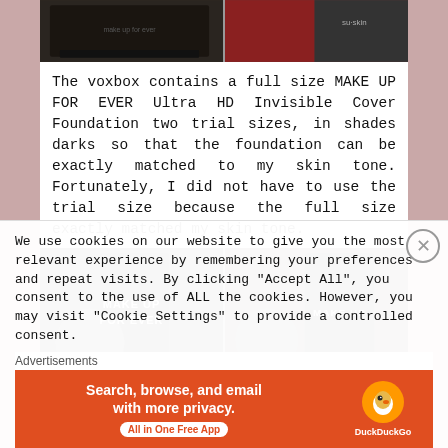[Figure (photo): Two product photos at top: left shows Make Up For Ever foundation box in dark background, right shows red fabric with product packaging]
The voxbox contains a full size MAKE UP FOR EVER Ultra HD Invisible Cover Foundation two trial sizes, in shades darks so that the foundation can be exactly matched to my skin tone. Fortunately, I did not have to use the trial size because the full size exactly matched my skin tone.
[Figure (photo): Two photos of Make Up For Ever Ultra HD foundation products: cylindrical containers and boxes with MAKE UP FOR EVER branding]
We use cookies on our website to give you the most relevant experience by remembering your preferences and repeat visits. By clicking "Accept All", you consent to the use of ALL the cookies. However, you may visit "Cookie Settings" to provide a controlled consent.
Advertisements
[Figure (illustration): DuckDuckGo advertisement banner: orange background with text 'Search, browse, and email with more privacy. All in One Free App' and DuckDuckGo logo on the right]